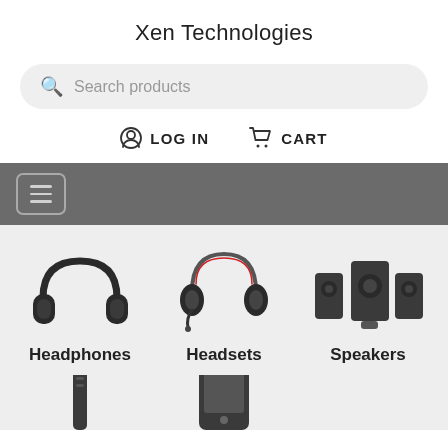Xen Technologies
[Figure (screenshot): Search bar with magnifying glass icon and placeholder text 'Search products']
LOG IN   CART
[Figure (screenshot): Gray navigation bar with hamburger menu button]
[Figure (illustration): Product category grid showing: Headphones (over-ear headphones image), Headsets (on-ear headset image), Speakers (desktop speaker system image), and two partial product images at bottom]
Headphones
Headsets
Speakers